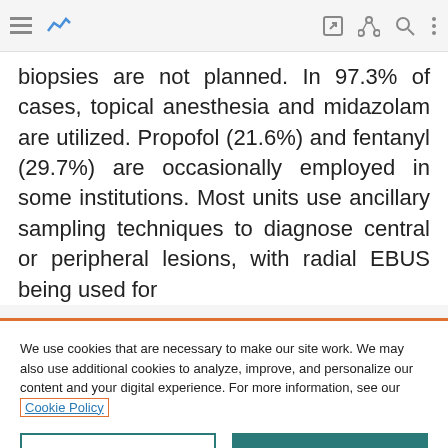toolbar with navigation icons
biopsies are not planned. In 97.3% of cases, topical anesthesia and midazolam are utilized. Propofol (21.6%) and fentanyl (29.7%) are occasionally employed in some institutions. Most units use ancillary sampling techniques to diagnose central or peripheral lesions, with radial EBUS being used for
We use cookies that are necessary to make our site work. We may also use additional cookies to analyze, improve, and personalize our content and your digital experience. For more information, see our Cookie Policy
Cookie settings
Accept all cookies